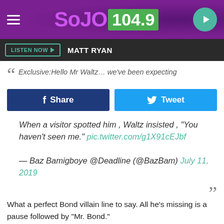[Figure (screenshot): SoJO 104.9 radio station website header with purple background, logo, hamburger menu, and play button]
LISTEN NOW  MATT RYAN
Exclusive:Hello Mr Waltz... we've been expecting
Share   Tweet
When a visitor spotted him , Waltz insisted , "You haven't seen me." pic.twitter.com/g1X91cEJbf
— Baz Bamigboye @Deadline (@BazBam) July 11, 2019
What a perfect Bond villain line to say. All he's missing is a pause followed by "Mr. Bond."